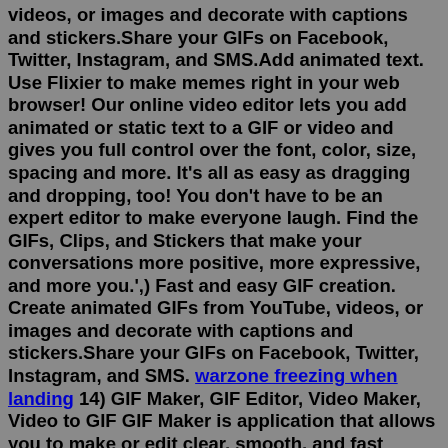videos, or images and decorate with captions and stickers.Share your GIFs on Facebook, Twitter, Instagram, and SMS.Add animated text. Use Flixier to make memes right in your web browser! Our online video editor lets you add animated or static text to a GIF or video and gives you full control over the font, color, size, spacing and more. It's all as easy as dragging and dropping, too! You don't have to be an expert editor to make everyone laugh. Find the GIFs, Clips, and Stickers that make your conversations more positive, more expressive, and more you.',) Fast and easy GIF creation. Create animated GIFs from YouTube, videos, or images and decorate with captions and stickers.Share your GIFs on Facebook, Twitter, Instagram, and SMS. warzone freezing when landing 14) GIF Maker, GIF Editor, Video Maker, Video to GIF GIF Maker is application that allows you to make or edit clear, smooth, and fast animated GIFs. This tool will enable you to make GIF from images, camera, animated GIF, and screen record. The interface of this app is friendly and easy